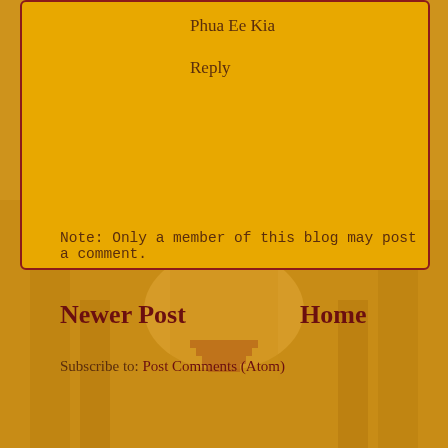Phua Ee Kia
Reply
Note: Only a member of this blog may post a comment.
Newer Post
Home
Subscribe to: Post Comments (Atom)
[Figure (photo): Ornate palace or opera house interior with grand staircase, golden decorations, and chandelier lighting, overlaid with golden-amber tint]